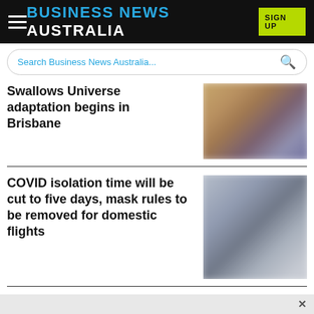BUSINESS NEWS AUSTRALIA
Search Business News Australia...
Swallows Universe adaptation begins in Brisbane
[Figure (photo): Blurred warm-toned photo associated with Swallows Universe article]
COVID isolation time will be cut to five days, mask rules to be removed for domestic flights
[Figure (photo): Blurred cool-toned grey photo associated with COVID isolation article]